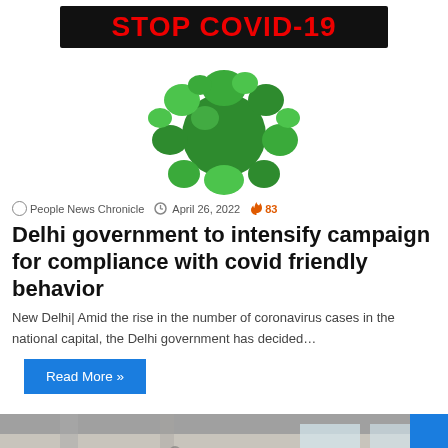[Figure (illustration): Stop COVID-19 graphic with black banner showing red text 'STOP COVID-19' and a green coronavirus illustration below]
People News Chronicle  April 26, 2022  🔥 83
Delhi government to intensify campaign for compliance with covid friendly behavior
New Delhi| Amid the rise in the number of coronavirus cases in the national capital, the Delhi government has decided…
Read More »
[Figure (photo): People wearing face masks in what appears to be an airport or transit facility]